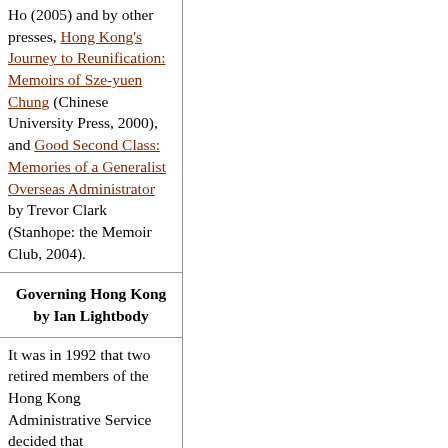Ho (2005) and by other presses, Hong Kong's Journey to Reunification: Memoirs of Sze-yuen Chung (Chinese University Press, 2000), and Good Second Class: Memories of a Generalist Overseas Administrator by Trevor Clark (Stanhope: the Memoir Club, 2004).
Governing Hong Kong by Ian Lightbody
It was in 1992 that two retired members of the Hong Kong Administrative Service decided that